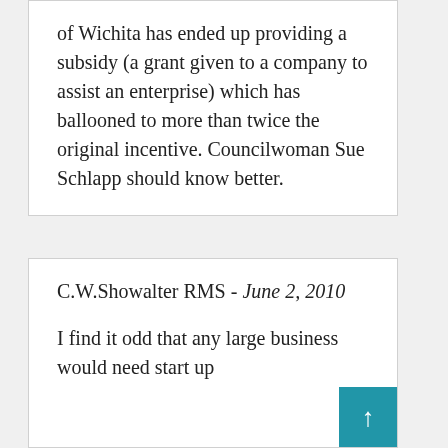of Wichita has ended up providing a subsidy (a grant given to a company to assist an enterprise) which has ballooned to more than twice the original incentive. Councilwoman Sue Schlapp should know better.
C.W.Showalter RMS - June 2, 2010
I find it odd that any large business would need start up